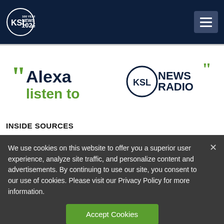[Figure (logo): KSL NewsRadio 102.7 FM logo with circle and text, white on dark navy header with hamburger menu button]
[Figure (logo): Alexa listen to KSL NewsRadio promotional banner with green and dark blue text and quotation marks]
INSIDE SOURCES
We use cookies on this website to offer you a superior user experience, analyze site traffic, and personalize content and advertisements. By continuing to use our site, you consent to our use of cookies. Please visit our Privacy Policy for more information.
Accept Cookies